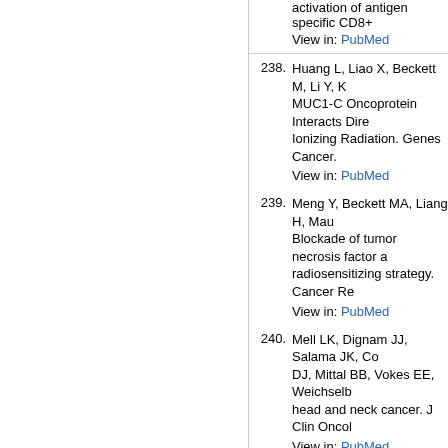activation of antigen specific CD8... View in: PubMed
238. Huang L, Liao X, Beckett M, Li Y, K... MUC1-C Oncoprotein Interacts Dire... Ionizing Radiation. Genes Cancer. ... View in: PubMed
239. Meng Y, Beckett MA, Liang H, Mau... Blockade of tumor necrosis factor a... radiosensitizing strategy. Cancer Re... View in: PubMed
240. Mell LK, Dignam JJ, Salama JK, Co... DJ, Mittal BB, Vokes EE, Weichselb... head and neck cancer. J Clin Oncol... View in: PubMed
241. Khodarev N, Ahmad R, Rajabi H, P... Weichselbaum R, Kufe D. Coopera... prognosis human breast cancer. On... View in: PubMed
242. Pitroda SP, Wakim BT, Sood RF, Be... RR, Khodarev NN. STAT1-depende... growth and radioresistance to the W... 19891767.